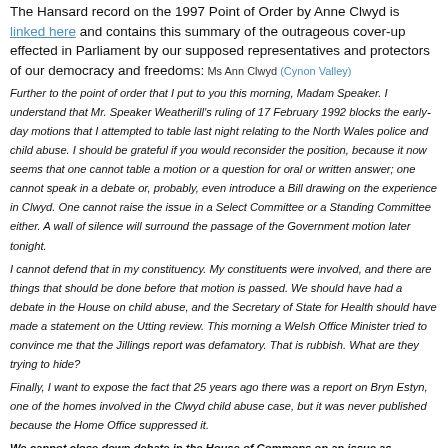The Hansard record on the 1997 Point of Order by Anne Clwyd is linked here and contains this summary of the outrageous cover-up effected in Parliament by our supposed representatives and protectors of our democracy and freedoms: Ms Ann Clwyd (Cynon Valley)
Further to the point of order that I put to you this morning, Madam Speaker. I understand that Mr. Speaker Weatherill's ruling of 17 February 1992 blocks the early-day motions that I attempted to table last night relating to the North Wales police and child abuse. I should be grateful if you would reconsider the position, because it now seems that one cannot table a motion or a question for oral or written answer; one cannot speak in a debate or, probably, even introduce a Bill drawing on the experience in Clwyd. One cannot raise the issue in a Select Committee or a Standing Committee either. A wall of silence will surround the passage of the Government motion later tonight.
I cannot defend that in my constituency. My constituents were involved, and there are things that should be done before that motion is passed. We should have had a debate in the House on child abuse, and the Secretary of State for Health should have made a statement on the Utting review. This morning a Welsh Office Minister tried to convince me that the Jillings report was defamatory. That is rubbish. What are they trying to hide?
Finally, I want to expose the fact that 25 years ago there was a report on Bryn Estyn, one of the homes involved in the Clwyd child abuse case, but it was never published because the Home Office suppressed it.
We cannot close down debate in the House of Commons on an issue as important as child abuse.
Oh yes they could, it seems, and for more than 16 years during which they could continue with their own